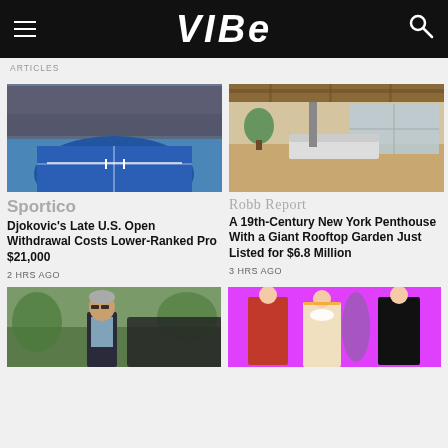VIBE
ARTICLES
[Figure (photo): Aerial view of a packed tennis stadium with blue court (US Open)]
Sportico
Djokovic's Late U.S. Open Withdrawal Costs Lower-Ranked Pro $21,000
2 HRS AGO
[Figure (photo): Interior of a 19th-century New York penthouse loft with exposed wooden ceiling and open living area]
Robb Report
A 19th-Century New York Penthouse With a Giant Rooftop Garden Just Listed for $6.8 Million
3 HRS AGO
[Figure (photo): Elderly man in dark suit and sunglasses outdoors near trees]
[Figure (photo): Fashion models in colorful extravagant outfits on a pink background]